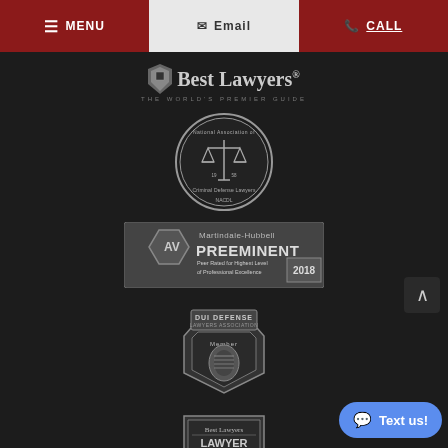MENU | Email | CALL
[Figure (logo): Best Lawyers - The World's Premier Guide logo with shield icon, white/gray on dark background]
[Figure (logo): National Association of Criminal Defense Lawyers (NACDL) circular seal with scales of justice, est. 1958, black and white]
[Figure (logo): Martindale-Hubbell AV Preeminent 2018 badge - Peer Rated for Highest Level of Professional Excellence, hexagonal design]
[Figure (logo): DUI Defense Lawyers Association Member badge/shield, gray tones]
[Figure (logo): Best Lawyers - Lawyer of the Year 2021, Colorado CO, DUI/DWI Defense, shield shaped badge]